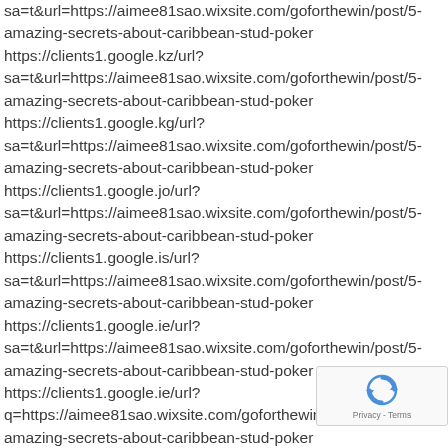sa=t&url=https://aimee81sao.wixsite.com/goforthewin/post/5-amazing-secrets-about-caribbean-stud-poker https://clients1.google.kz/url?sa=t&url=https://aimee81sao.wixsite.com/goforthewin/post/5-amazing-secrets-about-caribbean-stud-poker https://clients1.google.kg/url?sa=t&url=https://aimee81sao.wixsite.com/goforthewin/post/5-amazing-secrets-about-caribbean-stud-poker https://clients1.google.jo/url?sa=t&url=https://aimee81sao.wixsite.com/goforthewin/post/5-amazing-secrets-about-caribbean-stud-poker https://clients1.google.is/url?sa=t&url=https://aimee81sao.wixsite.com/goforthewin/post/5-amazing-secrets-about-caribbean-stud-poker https://clients1.google.ie/url?sa=t&url=https://aimee81sao.wixsite.com/goforthewin/post/5-amazing-secrets-about-caribbean-stud-poker https://clients1.google.ie/url?q=https://aimee81sao.wixsite.com/goforthewin/post/amazing-secrets-about-caribbean-stud-poker
[Figure (other): reCAPTCHA badge with logo and Privacy - Terms text]